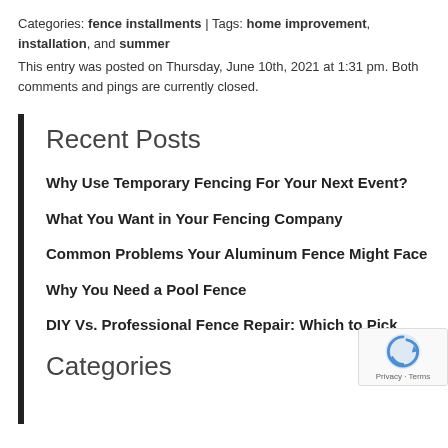Categories: fence installments | Tags: home improvement, installation, and summer
This entry was posted on Thursday, June 10th, 2021 at 1:31 pm. Both comments and pings are currently closed.
Recent Posts
Why Use Temporary Fencing For Your Next Event?
What You Want in Your Fencing Company
Common Problems Your Aluminum Fence Might Face
Why You Need a Pool Fence
DIY Vs. Professional Fence Repair: Which to Pick
Categories